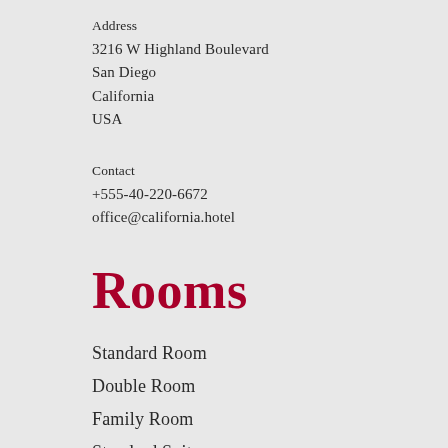Address
3216 W Highland Boulevard
San Diego
California
USA
Contact
+555-40-220-6672
office@california.hotel
Rooms
Standard Room
Double Room
Family Room
Standard Suite